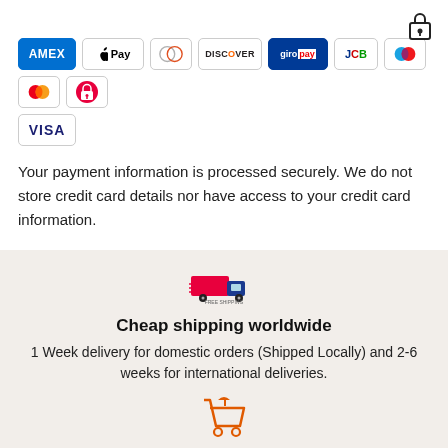[Figure (infographic): Padlock security icon in top right corner]
[Figure (infographic): Row of payment method icons: AMEX, Apple Pay, Diners Club, Discover, Giropay, JCB, Maestro, Mastercard, a red icon, and VISA]
Your payment information is processed securely. We do not store credit card details nor have access to your credit card information.
[Figure (illustration): Fast delivery truck icon with 'FREE SHIPPING' text]
Cheap shipping worldwide
1 Week delivery for domestic orders (Shipped Locally) and 2-6 weeks for international deliveries.
[Figure (illustration): Shopping cart with return arrow icon]